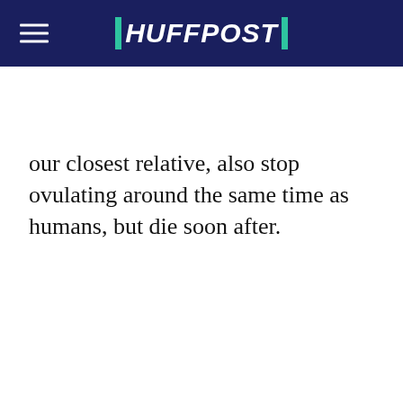HUFFPOST
our closest relative, also stop ovulating around the same time as humans, but die soon after.